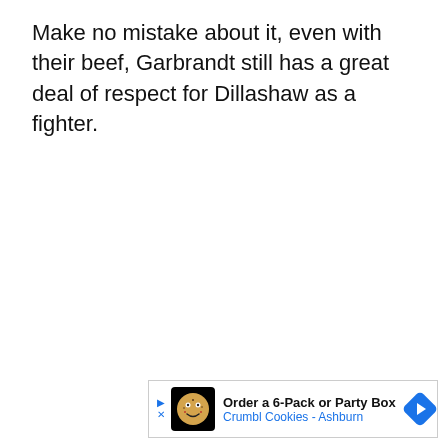Make no mistake about it, even with their beef, Garbrandt still has a great deal of respect for Dillashaw as a fighter.
[Figure (infographic): Advertisement banner for Crumbl Cookies - Ashburn: shows a cartoon cookie mascot icon on black background, text 'Order a 6-Pack or Party Box' and 'Crumbl Cookies - Ashburn' in blue, with a blue diamond-shaped navigation arrow on the right, and ad indicators (play/close) on the left.]